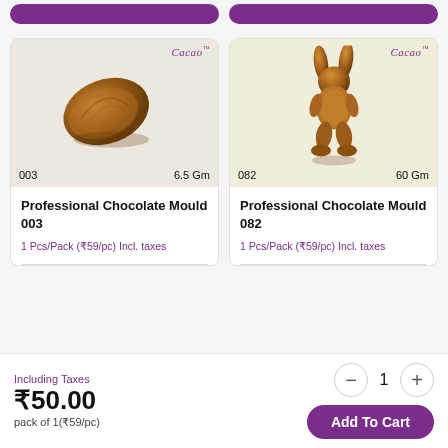[Figure (photo): Top partial purple Add to Cart buttons visible at top of page]
[Figure (photo): Product image of Professional Chocolate Mould 003 - a leaf/shell shaped chocolate, 6.5 Gm, with Cacao logo]
Professional Chocolate Mould 003
1 Pcs/Pack (₹59/pc) Incl. taxes
[Figure (photo): Product image of Professional Chocolate Mould 082 - a bunny/rabbit shaped chocolate figure, 60 Gm, with Cacao logo]
Professional Chocolate Mould 082
1 Pcs/Pack (₹59/pc) Incl. taxes
Including Taxes
₹50.00
pack of 1(₹59/pc)
1
Add To Cart